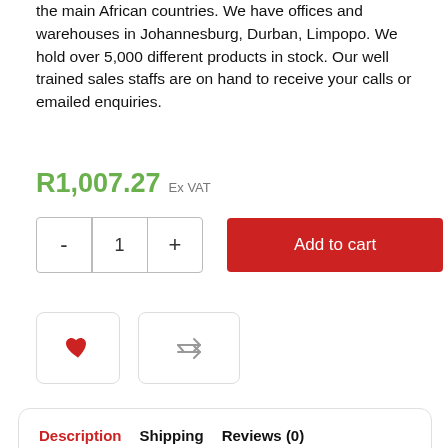the main African countries. We have offices and warehouses in Johannesburg, Durban, Limpopo. We hold over 5,000 different products in stock. Our well trained sales staffs are on hand to receive your calls or emailed enquiries.
R1,007.27 Ex VAT
[Figure (screenshot): Quantity selector with minus and plus buttons showing value 1, and a red Add to cart button]
[Figure (screenshot): Two icon buttons: a red heart (wishlist) and a grey shuffle/compare icon, both in rounded rectangle outlines]
Description  Shipping  Reviews (0)  Vendor Info  More Products
Medical supplies
MedQ Medical Supplies represents over 40 manufacturers